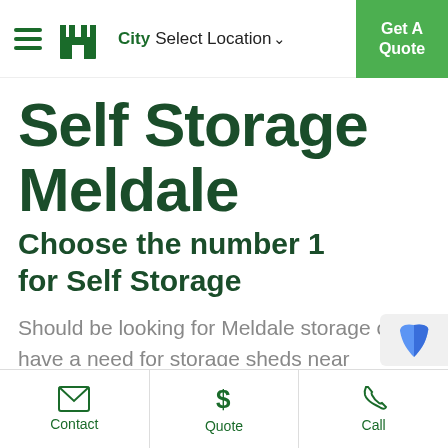City Select Location ↓  |  Get A Quote
Self Storage Meldale
Choose the number 1 for Self Storage
Should be looking for Meldale storage or have a need for storage sheds near Meldale, we might be able to help. Across Queensland, you will find a Fort Knox Storage
Contact  |  Quote  |  Call